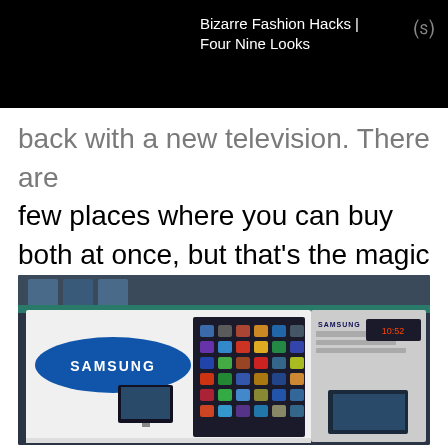Bizarre Fashion Hacks | Four Nine Looks
back with a new television. There are few places where you can buy both at once, but that's the magic of Costco.
[Figure (photo): Photo of a Samsung Smart TV box at Costco, showing the Samsung logo and a display of smart TV app icons on the box artwork.]